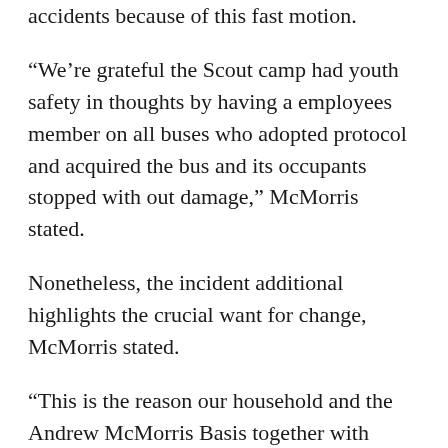accidents because of this fast motion.
“We’re grateful the Scout camp had youth safety in thoughts by having a employees member on all buses who adopted protocol and acquired the bus and its occupants stopped with out damage,” McMorris stated.
Nonetheless, the incident additional highlights the crucial want for change, McMorris stated.
“This is the reason our household and the Andrew McMorris Basis together with Moms Towards Drunk Driving are preventing so arduous to get drunk driving prevention know-how on all new automobiles as quickly as potential,” she stated. “Know-how exists in the present day that might cease this, and we’d like Congress to go laws this yr that might direct the Nationwide Freeway